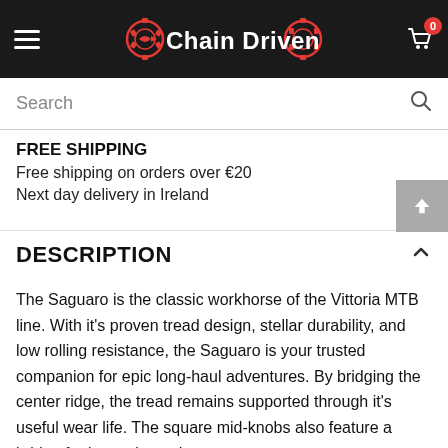Chain Driven Cycles
Search
FREE SHIPPING
Free shipping on orders over €20
Next day delivery in Ireland
DESCRIPTION
The Saguaro is the classic workhorse of the Vittoria MTB line. With it's proven tread design, stellar durability, and low rolling resistance, the Saguaro is your trusted companion for epic long-haul adventures. By bridging the center ridge, the tread remains supported through it's useful wear life. The square mid-knobs also feature a bridge for longevity and